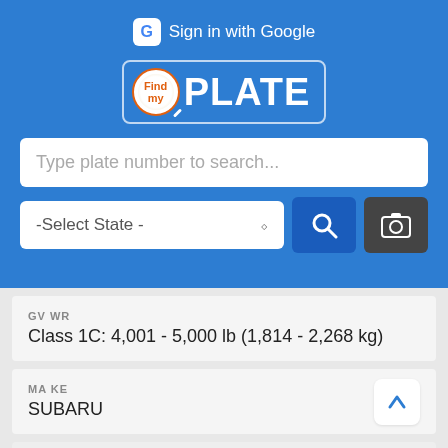[Figure (screenshot): FindPlate app header with Google Sign In button, FindPlate logo with magnifying glass icon, search bar for plate number, state selector dropdown, search button, and camera button on blue background]
GVWR
Class 1C: 4,001 - 5,000 lb (1,814 - 2,268 kg)
MAKE
SUBARU
MAKEID
523